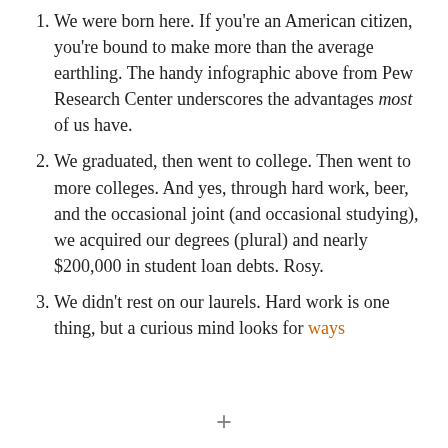We were born here. If you're an American citizen, you're bound to make more than the average earthling. The handy infographic above from Pew Research Center underscores the advantages most of us have.
We graduated, then went to college. Then went to more colleges. And yes, through hard work, beer, and the occasional joint (and occasional studying), we acquired our degrees (plural) and nearly $200,000 in student loan debts. Rosy.
We didn't rest on our laurels. Hard work is one thing, but a curious mind looks for ways